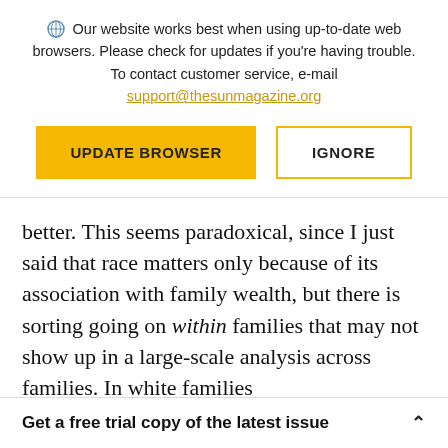Our website works best when using up-to-date web browsers. Please check for updates if you're having trouble. To contact customer service, e-mail support@thesunmagazine.org
[Figure (other): Two buttons: 'UPDATE BROWSER' (yellow filled) and 'IGNORE' (yellow outline)]
better. This seems paradoxical, since I just said that race matters only because of its association with family wealth, but there is sorting going on within families that may not show up in a large-scale analysis across families. In white families
Get a free trial copy of the latest issue